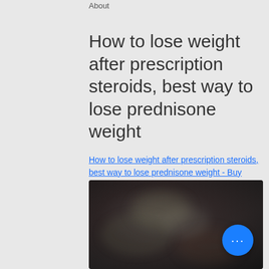About
How to lose weight after prescription steroids, best way to lose prednisone weight
How to lose weight after prescription steroids, best way to lose prednisone weight - Buy anabolic steroids online
[Figure (photo): Dark blurred image, possibly related to steroids or fitness context, with a circular blue button overlay showing three dots (ellipsis/more options button)]